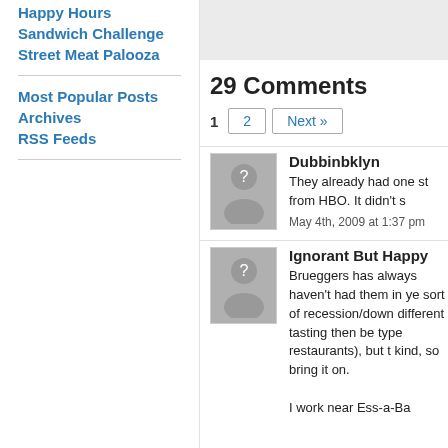Happy Hours
Sandwich Challenge
Street Meat Palooza
Most Popular Posts
Archives
RSS Feeds
[Figure (other): Gray advertisement placeholder banner]
29 Comments
1  2  Next »
Dubbinbklyn
They already had one st from HBO. It didn't s
May 4th, 2009 at 1:37 pm
Ignorant But Happy
Brueggers has always haven't had them in ye sort of recession/down different tasting then be type restaurants), but t kind, so bring it on.
I work near Ess-a-Ba